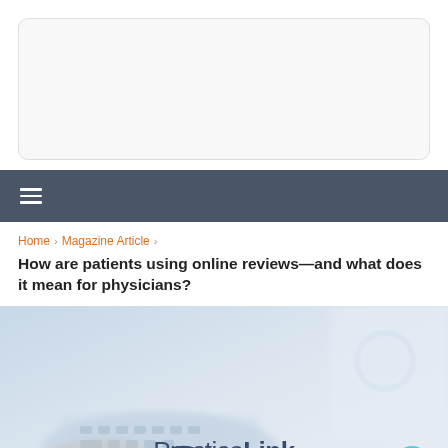[Figure (other): Top white area with a rounded rectangle ad placeholder box]
≡ (hamburger menu navigation bar)
Home > Magazine Article > How are patients using online reviews—and what does it mean for physicians?
How are patients using online reviews—and what does it mean for physicians?
[Figure (photo): Background photo of a doctor with stethoscope and someone using a tablet/keyboard, with PracticeLink Magazine logo overlay in the center]